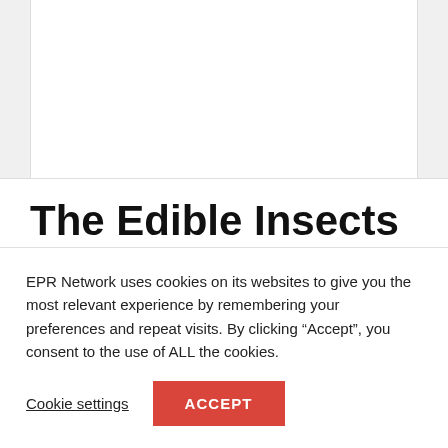The Edible Insects For Human Consumption
EPR Network uses cookies on its websites to give you the most relevant experience by remembering your preferences and repeat visits. By clicking “Accept”, you consent to the use of ALL the cookies.
Cookie settings
ACCEPT